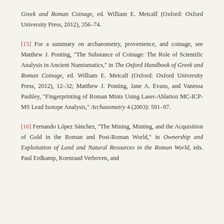Greek and Roman Coinage, ed. William E. Metcalf (Oxford: Oxford University Press, 2012), 356–74.
[15] For a summary on archaeometry, provenience, and coinage, see Matthew J. Ponting, "The Substance of Coinage: The Role of Scientific Analysis in Ancient Numismatics," in The Oxford Handbook of Greek and Roman Coinage, ed. William E. Metcalf (Oxford: Oxford University Press, 2012), 12–32; Matthew J. Ponting, Jane A. Evans, and Vanessa Pashley, "Fingerprinting of Roman Mints Using Laser-Ablation MC-ICP-MS Lead Isotope Analysis," Archaeometry 4 (2003): 591–97.
[16] Fernando López Sánchez, "The Mining, Minting, and the Acquisition of Gold in the Roman and Post-Roman World," in Ownership and Exploitation of Land and Natural Resources in the Roman World, eds. Paul Erdkamp, Koenraad Verboven, and